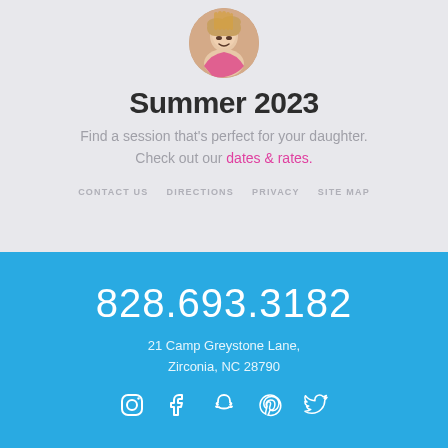[Figure (photo): Circular profile photo of a young girl with blonde hair]
Summer 2023
Find a session that's perfect for your daughter. Check out our dates & rates.
CONTACT US   DIRECTIONS   PRIVACY   SITE MAP
828.693.3182
21 Camp Greystone Lane, Zirconia, NC 28790
[Figure (infographic): Social media icons: Instagram, Facebook, Snapchat, Pinterest, Twitter]